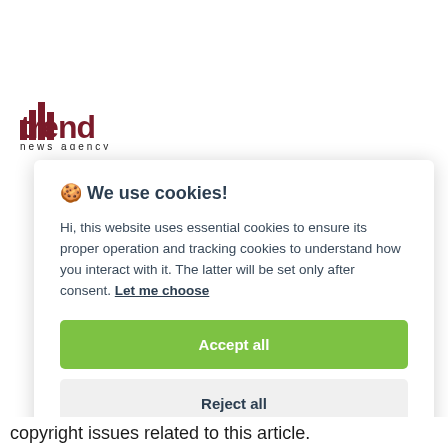[Figure (logo): Trend News Agency logo with red/maroon 'trend' text and bar chart icon, 'news agency' text below]
🍪 We use cookies!
Hi, this website uses essential cookies to ensure its proper operation and tracking cookies to understand how you interact with it. The latter will be set only after consent. Let me choose
Accept all
Reject all
copyright issues related to this article.